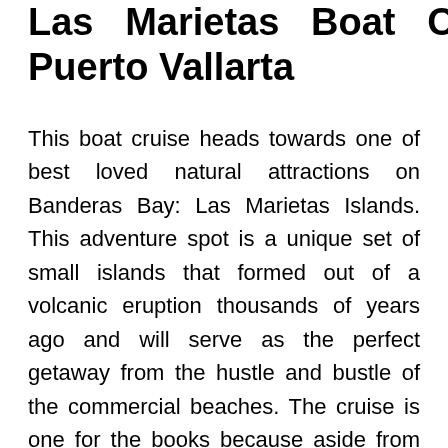Las Marietas Boat Cruises in Puerto Vallarta
This boat cruise heads towards one of best loved natural attractions on Banderas Bay: Las Marietas Islands. This adventure spot is a unique set of small islands that formed out of a volcanic eruption thousands of years ago and will serve as the perfect getaway from the hustle and bustle of the commercial beaches. The cruise is one for the books because aside from the usual merry making activities of dancing, partying and music on board, you can find yourself in the company of humpback whales, manta rays and dolphins as they swim beside your sailing vessel. Upon reaching the islands, swim through a cave to reach a hidden paradise beach that is the signature feature of las Marietas and...